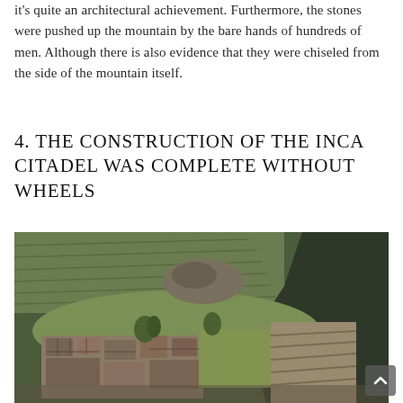it's quite an architectural achievement. Furthermore, the stones were pushed up the mountain by the bare hands of hundreds of men. Although there is also evidence that they were chiseled from the side of the mountain itself.
4. THE CONSTRUCTION OF THE INCA CITADEL WAS COMPLETE WITHOUT WHEELS
[Figure (photo): Aerial view of Machu Picchu ruins showing stone terraces, green grass areas, ancient stone buildings and structures, with steep mountain cliffs in the background.]